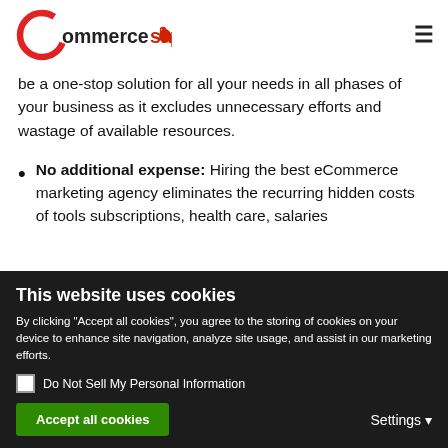CommerceShôp
be a one-stop solution for all your needs in all phases of your business as it excludes unnecessary efforts and wastage of available resources.
No additional expense: Hiring the best eCommerce marketing agency eliminates the recurring hidden costs of tools subscriptions, health care, salaries
This website uses cookies
By clicking “Accept all cookies”, you agree to the storing of cookies on your device to enhance site navigation, analyze site usage, and assist in our marketing efforts.
Do Not Sell My Personal Information
Accept all cookies
Settings